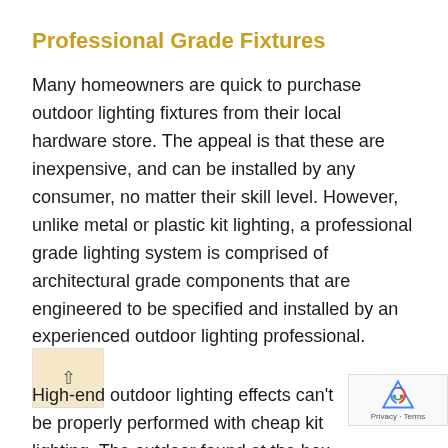Professional Grade Fixtures
Many homeowners are quick to purchase outdoor lighting fixtures from their local hardware store. The appeal is that these are inexpensive, and can be installed by any consumer, no matter their skill level. However, unlike metal or plastic kit lighting, a professional grade lighting system is comprised of architectural grade components that are engineered to be specified and installed by an experienced outdoor lighting professional.
High-end outdoor lighting effects can’t be properly performed with cheap kit lighting. The outdoor found at the box store in your neighborhood ar notorious for being low output and, as a result, are